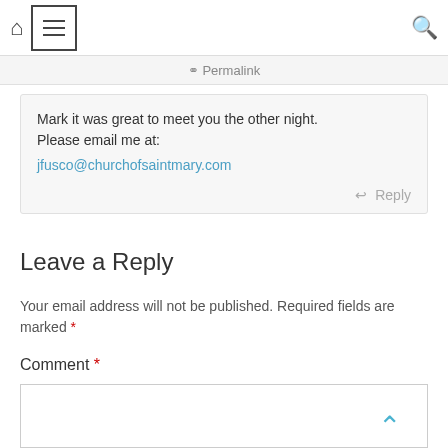Home | Menu | Search
Permalink
Mark it was great to meet you the other night. Please email me at:
jfusco@churchofsaintmary.com
Reply
Leave a Reply
Your email address will not be published. Required fields are marked *
Comment *